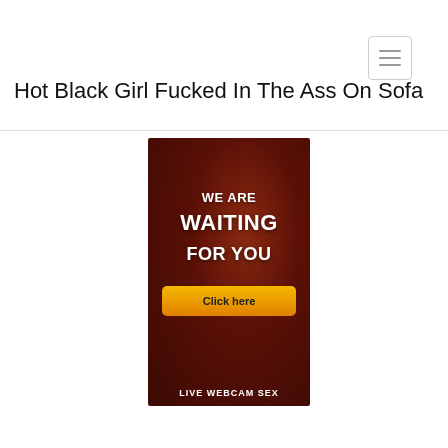[Figure (screenshot): Navigation hamburger menu button (three horizontal lines) in top-right corner]
Hot Black Girl Fucked In The Ass On Sofa
[Figure (infographic): Dark red advertisement banner with text 'WE ARE WAITING FOR YOU', an orange 'Click here' button, and 'LIVE WEBCAM SEX' footer text]